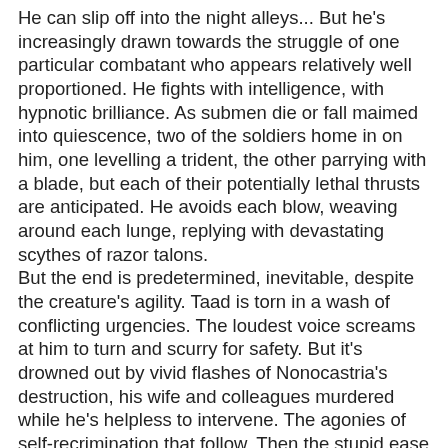He can slip off into the night alleys... But he's increasingly drawn towards the struggle of one particular combatant who appears relatively well proportioned. He fights with intelligence, with hypnotic brilliance. As submen die or fall maimed into quiescence, two of the soldiers home in on him, one levelling a trident, the other parrying with a blade, but each of their potentially lethal thrusts are anticipated. He avoids each blow, weaving around each lunge, replying with devastating scythes of razor talons.
But the end is predetermined, inevitable, despite the creature's agility. Taad is torn in a wash of conflicting urgencies. The loudest voice screams at him to turn and scurry for safety. But it's drowned out by vivid flashes of Nonocastria's destruction, his wife and colleagues murdered while he's helpless to intervene. The agonies of self-recrimination that follow. Then the stupid ease of his recapture by Chao's Drhazilsks in the Time Marshes. Shit. Here is another victim. And a tangible foe to vent all that repressed anger on. A chance to redress his earlier humiliation. To exorcise himself.
The anger bursts. Blindly, viciously, he attacks the near spearsman, grasping the shaft of the weapon from behind,